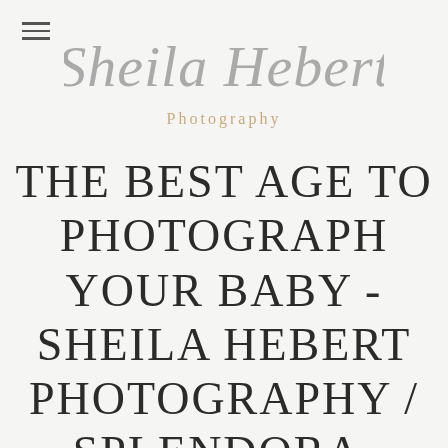Sheila Hebert Photography
THE BEST AGE TO PHOTOGRAPH YOUR BABY - SHEILA HEBERT PHOTOGRAPHY / SPLENDORA, TEXAS